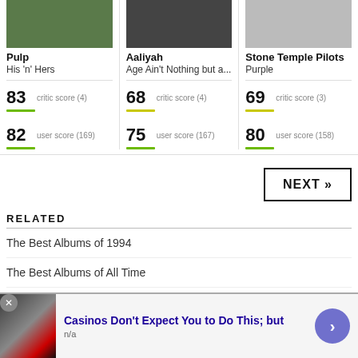Pulp
His 'n' Hers
83 critic score (4)
82 user score (169)
Aaliyah
Age Ain't Nothing but a...
68 critic score (4)
75 user score (167)
Stone Temple Pilots
Purple
69 critic score (3)
80 user score (158)
NEXT »
RELATED
The Best Albums of 1994
The Best Albums of All Time
Casinos Don't Expect You to Do This; but
n/a